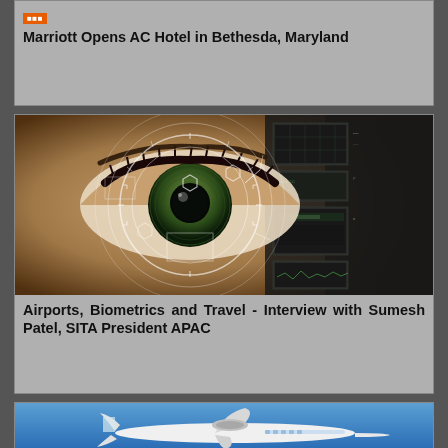Marriott Opens AC Hotel in Bethesda, Maryland
[Figure (photo): Close-up of a human eye with biometric HUD overlay circles and digital interface panels on the right side]
Airports, Biometrics and Travel - Interview with Sumesh Patel, SITA President APAC
[Figure (photo): White commercial airplane against a blue sky, photographed from below at angle]